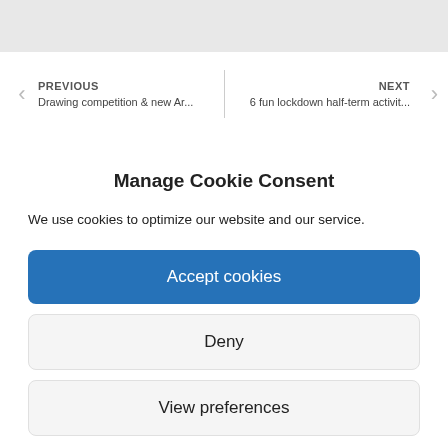PREVIOUS
Drawing competition & new Ar...
NEXT
6 fun lockdown half-term activit...
Manage Cookie Consent
We use cookies to optimize our website and our service.
Accept cookies
Deny
View preferences